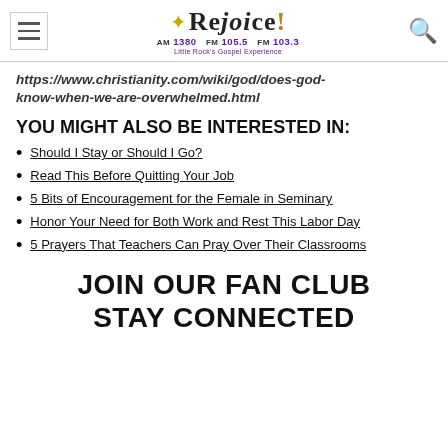Rejoice! AM 1380 FM 105.5 FM 103.3 Little Rock's Gospel Experience
https://www.christianity.com/wiki/god/does-god-know-when-we-are-overwhelmed.html
YOU MIGHT ALSO BE INTERESTED IN:
Should I Stay or Should I Go?
Read This Before Quitting Your Job
5 Bits of Encouragement for the Female in Seminary
Honor Your Need for Both Work and Rest This Labor Day
5 Prayers That Teachers Can Pray Over Their Classrooms
JOIN OUR FAN CLUB STAY CONNECTED